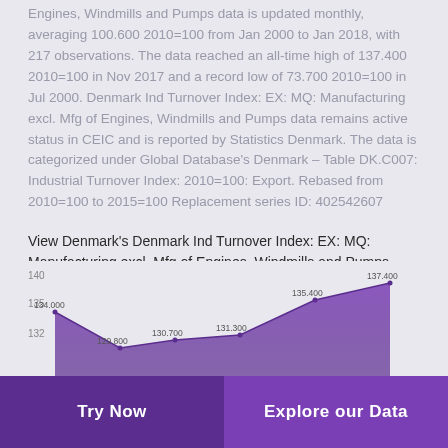Engines, Windmills and Pumps data is updated monthly, averaging 100.600 2010=100 from Jan 2000 to Jan 2018, with 217 observations. The data reached an all-time high of 137.400 2010=100 in Nov 2017 and a record low of 73.700 2010=100 in Jul 2000. Denmark Ind Turnover Index: EX: MQ: Manufacturing excl. Mfg of Engines, Windmills and Pumps data remains active status in CEIC and is reported by Statistics Denmark. The data is categorized under Global Database's Denmark – Table DK.C007: Industrial Turnover Index: 2010=100: Export. Rebased from 2010=100 to 2015=100 Replacement series ID: 402542607
View Denmark's Denmark Ind Turnover Index: EX: MQ: Manufacturing excl. Mfg of Engines, Windmills and Pumps from Jan 2000 to Jan 2018 in the chart:
[Figure (area-chart): Denmark Ind Turnover Index]
Try Now   Explore our Data